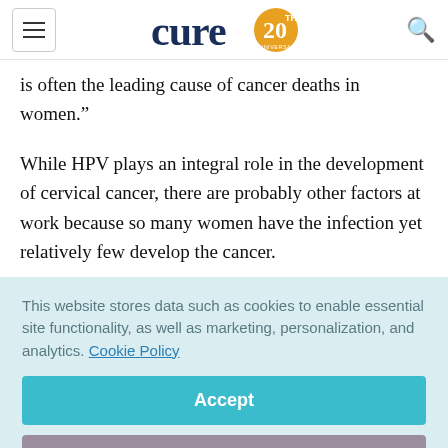cure 20th anniversary logo
is often the leading cause of cancer deaths in women.”
While HPV plays an integral role in the development of cervical cancer, there are probably other factors at work because so many women have the infection yet relatively few develop the cancer.
This website stores data such as cookies to enable essential site functionality, as well as marketing, personalization, and analytics. Cookie Policy
Accept
Deny